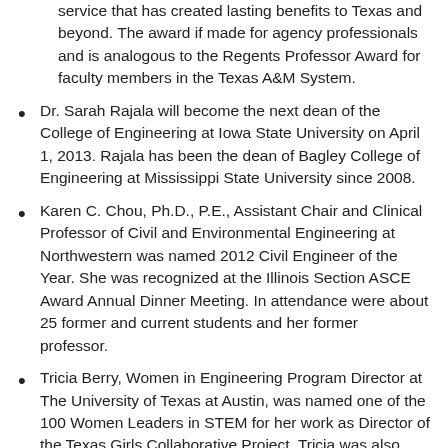service that has created lasting benefits to Texas and beyond.  The award if made for agency professionals and is analogous to the Regents Professor Award for faculty members in the Texas A&M System.
Dr. Sarah Rajala will become the next dean of the College of Engineering at Iowa State University on April 1, 2013. Rajala has been the dean of Bagley College of Engineering at Mississippi State University since 2008.
Karen C. Chou, Ph.D., P.E., Assistant Chair and Clinical Professor of Civil and Environmental Engineering at Northwestern was named 2012 Civil Engineer of the Year.  She was recognized at the Illinois Section ASCE Award Annual Dinner Meeting.  In attendance were about 25 former and current students and her former professor.
Tricia Berry, Women in Engineering Program Director at The University of Texas at Austin, was named one of the 100 Women Leaders in STEM for her work as Director of the Texas Girls Collaborative Project. Tricia was also recognized as a Game Changer by nonprofit Girlstart.
Congratulations to Dr. Alice Pawley, an Assistant